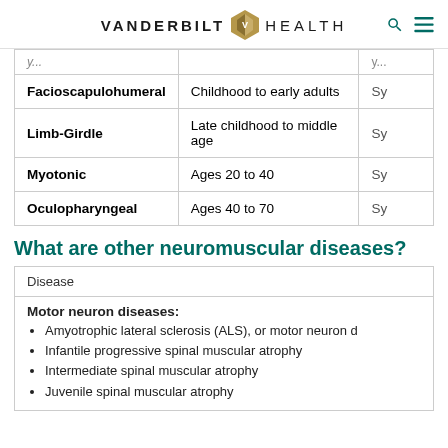VANDERBILT HEALTH
| Type | Age of Onset | Sy... |
| --- | --- | --- |
| Facioscapulohumeral | Childhood to early adults | Sy |
| Limb-Girdle | Late childhood to middle age | Sy |
| Myotonic | Ages 20 to 40 | Sy |
| Oculopharyngeal | Ages 40 to 70 | Sy |
What are other neuromuscular diseases?
| Disease |
| --- |
| Motor neuron diseases:
• Amyotrophic lateral sclerosis (ALS), or motor neuron d
• Infantile progressive spinal muscular atrophy
• Intermediate spinal muscular atrophy
• Juvenile spinal muscular atrophy |